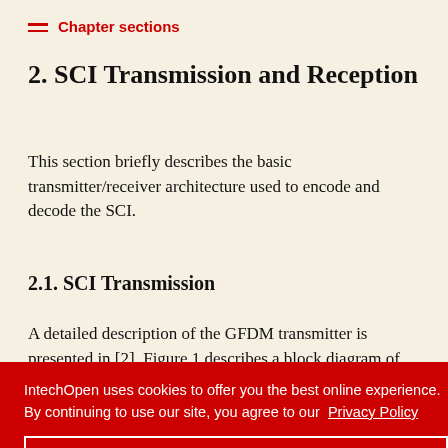Chapter sections
2. SCI Transmission and Reception
This section briefly describes the basic transmitter/receiver architecture used to encode and decode the SCI.
2.1. SCI Transmission
A detailed description of the GFDM transmitter is presented in [2]. Figure 1 describes a block diagram of the GFDM transmitter
[Figure (schematic): Block diagram of GFDM transmitter showing Pilot data -> Mapping -> Modulation -> Add CP -> antenna]
IntechOpen uses cookies to offer you the best online experience. By continuing to use our site, you agree to our  Privacy Policy
Got it!